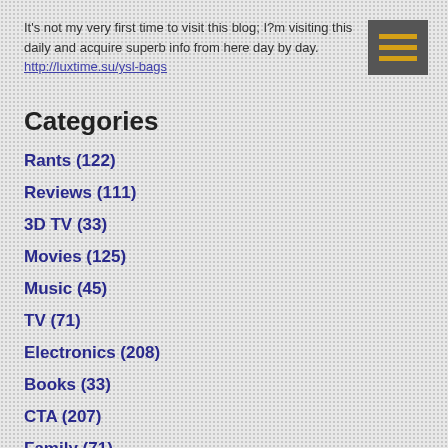It's not my very first time to visit this blog; I?m visiting this daily and acquire superb info from here day by day. http://luxtime.su/ysl-bags
[Figure (other): Dark grey hamburger menu button with three yellow horizontal lines]
Categories
Rants (122)
Reviews (111)
3D TV (33)
Movies (125)
Music (45)
TV (71)
Electronics (208)
Books (33)
CTA (207)
Family (71)
Coffee (11)
Top 10 List (16)
Computers (33)